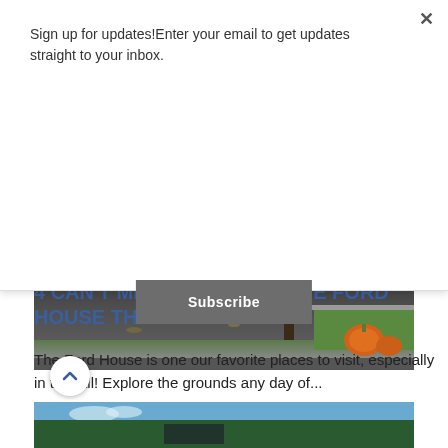Sign up for updates!Enter your email to get updates straight to your inbox.
Subscribe
[Figure (photo): Outdoor driveway/path scene with pumpkins on the side, trees, and people walking in the background. Fall setting.]
4 CAN'T MISS EVENTS AT THE FORD HOUSE THIS FALL
The Ford House is one our favorite places to visit, especially in the fall! Explore the grounds any day of...
[Figure (photo): Bottom portion of another article image showing blue sky and trees.]